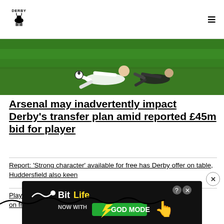Derby Wire logo and navigation
[Figure (photo): Football players on a green pitch, one sliding tackle, in black and white kit]
Arsenal may inadvertently impact Derby's transfer plan amid reported £45m bid for player
Report: 'Strong character' available for free has Derby offer on table, Huddersfield also keen
Player Derby bid £3m for back in 2017 now joins league rivals on free transfer
[Figure (advertisement): BitLife Now with GOD MODE advertisement banner]